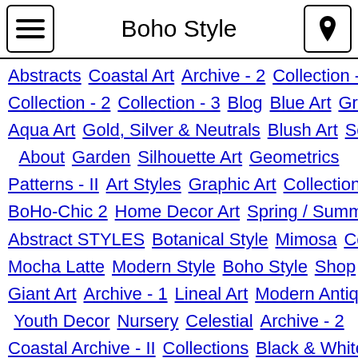Boho Style
Abstracts  Coastal Art  Archive - 2  Collection - 1  Collection - 2  Collection - 3  Blog  Blue Art  Gray Art  Aqua Art  Gold, Silver & Neutrals  Blush Art  Sea Art  About  Garden  Silhouette Art  Geometrics  Patterns - II  Art Styles  Graphic Art  Collection  BoHo-Chic 2  Home Decor Art  Spring / Summer  Abstract STYLES  Botanical Style  Mimosa  Centric  Mocha Latte  Modern Style  Boho Style  Shop  Giant Art  Archive - 1  Lineal Art  Modern Antiquity  Youth Decor  Nursery  Celestial  Archive - 2  Coastal Archive - II  Collections  Black & White  Feathers  Whimsical  Metallic  Patterns  Kitchen Art